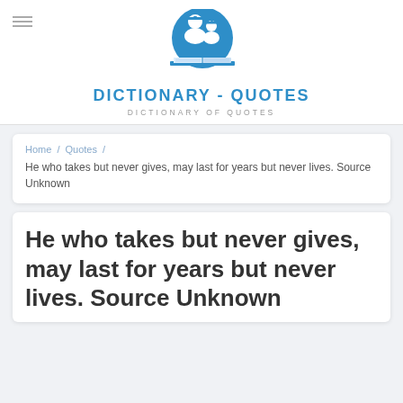[Figure (logo): Dictionary-Quotes website logo: blue circle with two graduation-cap figures over an open book]
DICTIONARY - QUOTES
DICTIONARY OF QUOTES
Home / Quotes / He who takes but never gives, may last for years but never lives. Source Unknown
He who takes but never gives, may last for years but never lives. Source Unknown